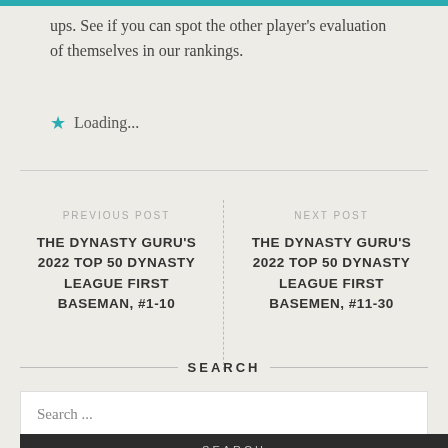ups. See if you can spot the other player's evaluation of themselves in our rankings.
Loading...
PREVIOUS POST
THE DYNASTY GURU'S 2022 TOP 50 DYNASTY LEAGUE FIRST BASEMAN, #1-10
NEXT POST
THE DYNASTY GURU'S 2022 TOP 50 DYNASTY LEAGUE FIRST BASEMEN, #11-30
SEARCH
Search ...
SEARCH